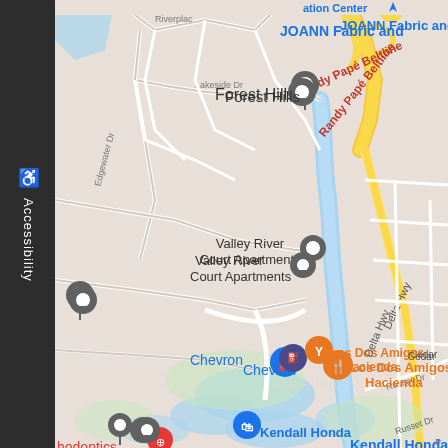[Figure (map): Google Maps screenshot showing area around Valley River Court Apartments, Eugene, Oregon. Shows Forest Hills neighborhood, Chevron station, Los Dos Amigos Hacienda restaurant, Kendall Honda dealership, Delta Grove Apartments, Terrace Apartments, JOANN Fabric and Crafts, Randy Papé Beltline highway. Delta Hwy runs through the map. Blue water features (river/wetlands) visible. Various map pins in gray, blue, orange, and red.]
♿ Accessibility